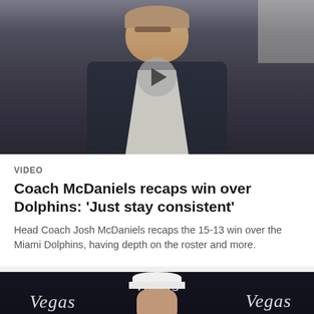[Figure (screenshot): Video thumbnail showing a man in a navy hoodie seated indoors, with a play button overlay in the center]
VIDEO
Coach McDaniels recaps win over Dolphins: 'Just stay consistent'
Head Coach Josh McDaniels recaps the 15-13 win over the Miami Dolphins, having depth on the roster and more.
[Figure (screenshot): Video thumbnail showing a man in a white Raiders cap at a press conference podium with Las Vegas Raiders branding visible]